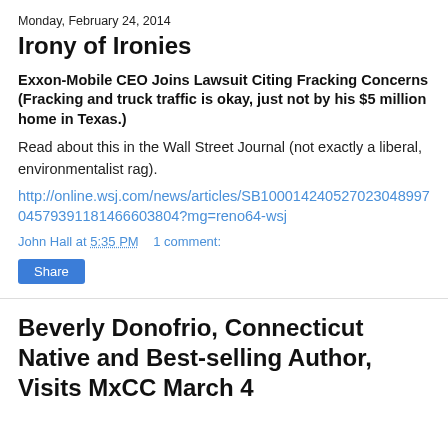Monday, February 24, 2014
Irony of Ironies
Exxon-Mobile CEO Joins Lawsuit Citing Fracking Concerns (Fracking and truck traffic is okay, just not by his $5 million home in Texas.)
Read about this in the Wall Street Journal (not exactly a liberal, environmentalist rag). http://online.wsj.com/news/articles/SB10001424052702304899704579391181466603804?mg=reno64-wsj
John Hall at 5:35 PM    1 comment:
Share
Beverly Donofrio, Connecticut Native and Best-selling Author, Visits MxCC March 4